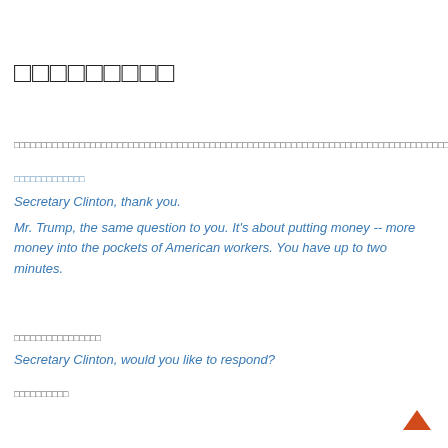□□□□□□□□□
□□□□□□□□□□□□□□□□□□□□□□□□□□□□□□□□□□□□□□□□□□□□□□□□□□□□□□□□□□□□□□□□□□□□□□□□□□□□□□□□□□□□□□
□□□□□□□□□□□□□ (link)
Secretary Clinton, thank you.
Mr. Trump, the same question to you. It's about putting money -- more money into the pockets of American workers. You have up to two minutes.
□□□□□□□□□□□□□□□□
Secretary Clinton, would you like to respond?
□□□□□□□□□□